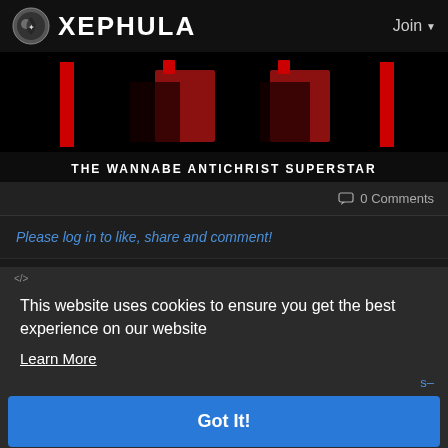XEPHULA   Join
[Figure (illustration): Dark banner image showing stylized red and dark figures with text 'THE WANNABE ANTICHRIST SUPERSTAR' at the bottom]
0 Comments
Please log in to like, share and comment!
This website uses cookies to ensure you get the best experience on our website
Learn More
Got It!
Read more